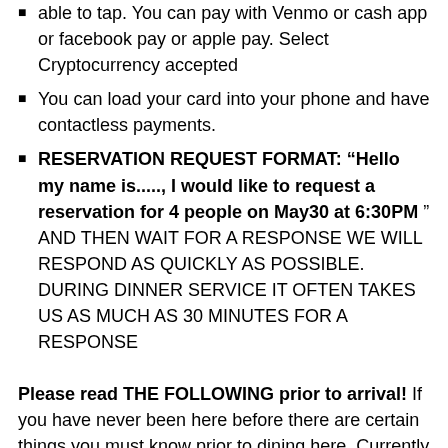able to tap. You can pay with Venmo or cash app or facebook pay or apple pay. Select Cryptocurrency accepted
You can load your card into your phone and have contactless payments.
RESERVATION REQUEST FORMAT: “Hello my name is....., I would like to request a reservation for 4 people on May30 at 6:30PM” AND THEN WAIT FOR A RESPONSE WE WILL RESPOND AS QUICKLY AS POSSIBLE. DURING DINNER SERVICE IT OFTEN TAKES US AS MUCH AS 30 MINUTES FOR A RESPONSE
Please read THE FOLLOWING prior to arrival! If you have never been here before there are certain things you must know prior to dining here. Currently We do not take parties larger than four no exceptions. We have a very